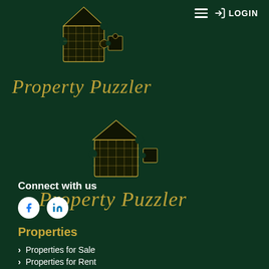[Figure (logo): Property Puzzler logo with puzzle-piece house icon and gold cursive text, appearing twice on a dark green background]
LOGIN
Connect with us
[Figure (illustration): Facebook and LinkedIn social media icons (white circles with respective logos)]
Properties
Properties for Sale
Properties for Rent